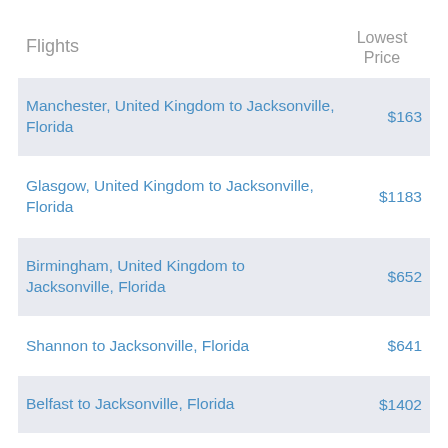| Flights | Lowest Price |
| --- | --- |
| Manchester, United Kingdom to Jacksonville, Florida | $163 |
| Glasgow, United Kingdom to Jacksonville, Florida | $1183 |
| Birmingham, United Kingdom to Jacksonville, Florida | $652 |
| Shannon to Jacksonville, Florida | $641 |
| Belfast to Jacksonville, Florida | $1402 |